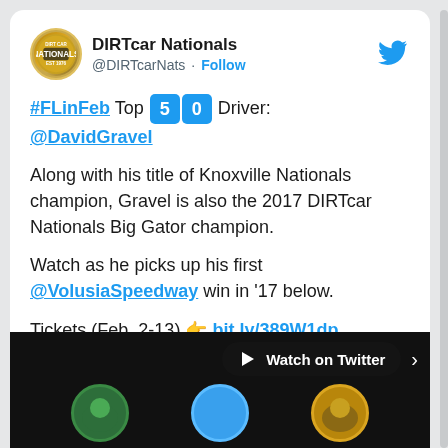DIRTcar Nationals @DIRTcarNats · Follow
#FLinFeb Top 50 Driver: @DavidGravel

Along with his title of Knoxville Nationals champion, Gravel is also the 2017 DIRTcar Nationals Big Gator champion.

Watch as he picks up his first @VolusiaSpeedway win in '17 below.

Tickets (Feb. 2-13) 👉 bit.ly/389W1dp
[Figure (screenshot): Video preview showing racing figures on dark/black background with Watch on Twitter button]